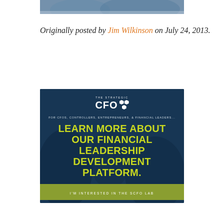[Figure (photo): Cropped top portion of a photo showing people in a business meeting, partially visible at the top of the page]
Originally posted by Jim Wilkinson on July 24, 2013.
[Figure (infographic): The Strategic CFO advertisement banner with dark blue background, hexagon logo, tagline 'FOR CFOS, CONTROLLERS, ENTREPRENEURS, & FINANCIAL LEADERS...', headline 'LEARN MORE ABOUT OUR FINANCIAL LEADERSHIP DEVELOPMENT PLATFORM.', green CTA bar 'I'M INTERESTED IN THE SCFO LAB', and URL 'STRATEGICCFO.COM/LAB']